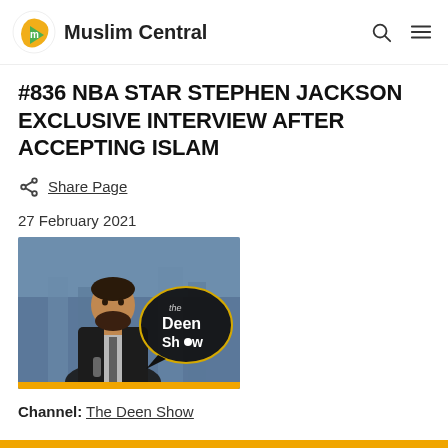Muslim Central
#836 NBA STAR STEPHEN JACKSON EXCLUSIVE INTERVIEW AFTER ACCEPTING ISLAM
Share Page
27 February 2021
[Figure (photo): Thumbnail image for The Deen Show podcast episode featuring a bearded man in a suit with The Deen Show logo overlay]
Channel: The Deen Show